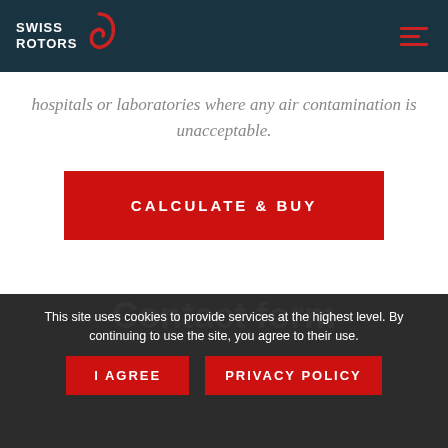SWISS ROTORS
hospitals or laboratories where any air contamination is unacceptable.
CALCULATE & BUY
Contact form
This site uses cookies to provide services at the highest level. By continuing to use the site, you agree to their use.
I AGREE
PRIVACY POLICY